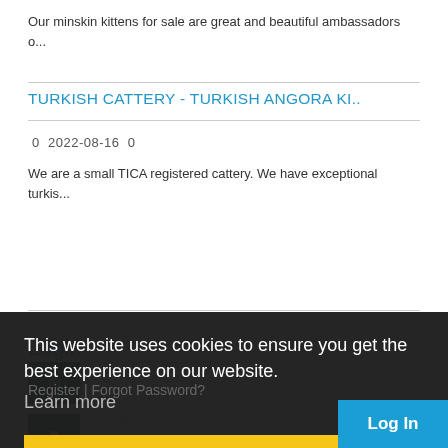Our minskin kittens for sale are great and beautiful ambassadors o...
TURKISH CATTERY - TURKISH ANGORA KI..
0  2022-08-16  0
We are a small TICA registered cattery. We have exceptional turkis...
Login
This website uses cookies to ensure you get the best experience on our website.
Learn more
Got it!
Register | Forgot Password?
Log In